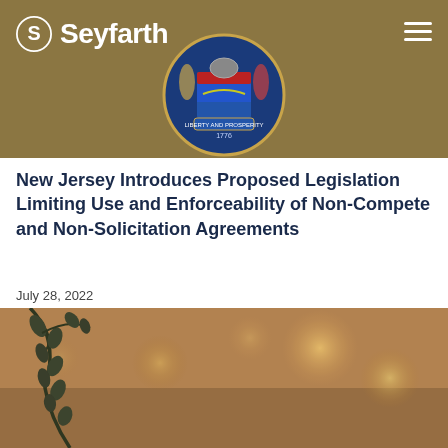[Figure (logo): Seyfarth law firm logo with stylized S icon and text 'Seyfarth' in white on tan/brown header bar, with New Jersey state seal in center and hamburger menu icon on right]
New Jersey Introduces Proposed Legislation Limiting Use and Enforceability of Non-Compete and Non-Solicitation Agreements
July 28, 2022
[Figure (photo): Blurred bokeh photo of dried eucalyptus branches with warm golden bokeh lights in background, soft focus lifestyle photo]